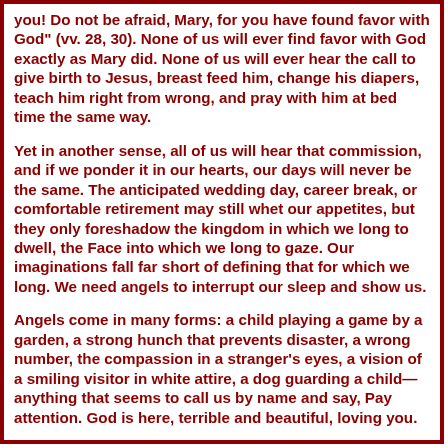you! Do not be afraid, Mary, for you have found favor with God" (vv. 28, 30). None of us will ever find favor with God exactly as Mary did. None of us will ever hear the call to give birth to Jesus, breast feed him, change his diapers, teach him right from wrong, and pray with him at bed time the same way.
Yet in another sense, all of us will hear that commission, and if we ponder it in our hearts, our days will never be the same. The anticipated wedding day, career break, or comfortable retirement may still whet our appetites, but they only foreshadow the kingdom in which we long to dwell, the Face into which we long to gaze. Our imaginations fall far short of defining that for which we long. We need angels to interrupt our sleep and show us.
Angels come in many forms: a child playing a game by a garden, a strong hunch that prevents disaster, a wrong number, the compassion in a stranger's eyes, a vision of a smiling visitor in white attire, a dog guarding a child—anything that seems to call us by name and say, Pay attention. God is here, terrible and beautiful, loving you.